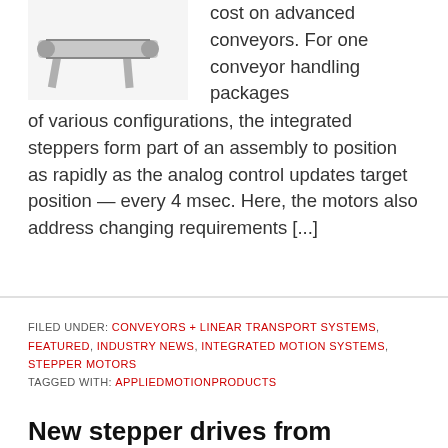[Figure (illustration): Illustration of a conveyor system component, partially visible at top-left]
cost on advanced conveyors. For one conveyor handling packages of various configurations, the integrated steppers form part of an assembly to position as rapidly as the analog control updates target position — every 4 msec. Here, the motors also address changing requirements [...]
FILED UNDER: CONVEYORS + LINEAR TRANSPORT SYSTEMS, FEATURED, INDUSTRY NEWS, INTEGRATED MOTION SYSTEMS, STEPPER MOTORS
TAGGED WITH: APPLIEDMOTIONPRODUCTS
New stepper drives from Applied Motion Products